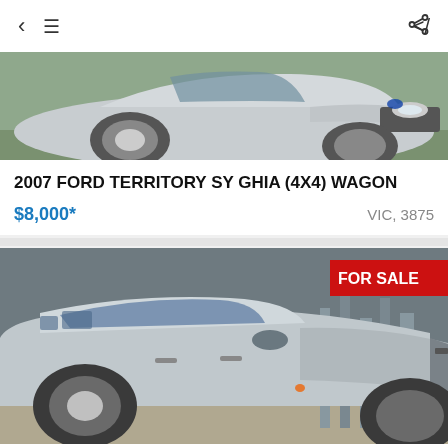< ≡  share
[Figure (photo): Silver Ford Territory SUV wagon, front three-quarter view, outdoor setting]
2007 FORD TERRITORY SY GHIA (4X4) WAGON
$8,000*   VIC, 3875
[Figure (photo): Silver Mitsubishi Pajero NM 4X4 wagon, side view, outdoor setting with FOR SALE badge]
2000 MITSUBISHI PAJERO NM 4X4 WAGON